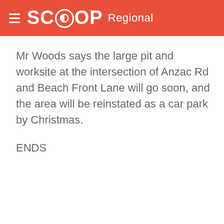SCOOP Regional
Mr Woods says the large pit and worksite at the intersection of Anzac Rd and Beach Front Lane will go soon, and the area will be reinstated as a car park by Christmas.
ENDS